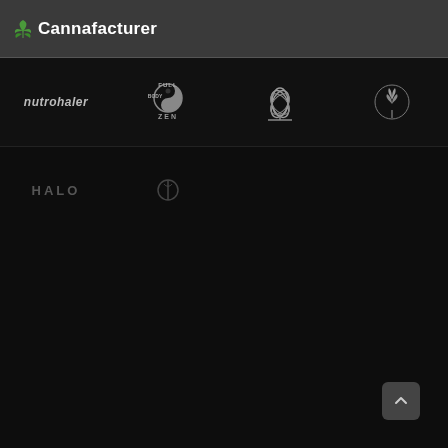Cannafacturer
[Figure (logo): nutrohaler brand logo text in italic]
[Figure (logo): Full Body Zen logo with yin-yang symbol]
[Figure (logo): Lotus flower icon in grey]
[Figure (logo): Cannabis plant with circular emblem]
[Figure (logo): HALO text logo faded]
[Figure (logo): Small abstract icon faded]